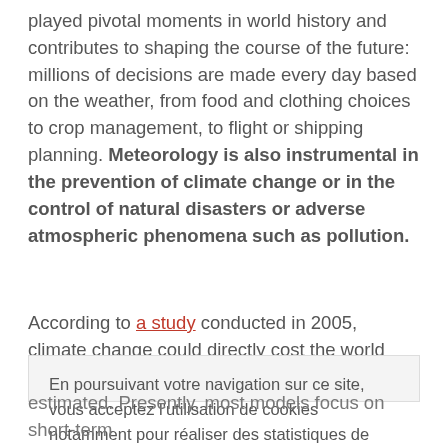played pivotal moments in world history and contributes to shaping the course of the future: millions of decisions are made every day based on the weather, from food and clothing choices to crop management, to flight or shipping planning. Meteorology is also instrumental in the prevention of climate change or in the control of natural disasters or adverse atmospheric phenomena such as pollution.
According to a study conducted in 2005, climate change could directly cost the world economy $7.9 trillion by the
En poursuivant votre navigation sur ce site, vous acceptez l'utilisation de cookies notamment pour réaliser des statistiques de visites afin d'optimiser la fonctionnalité du site. Pour en savoir plus et paramétrer les traceurs

J'accepte
estimated. Presently, most models focus on short-term